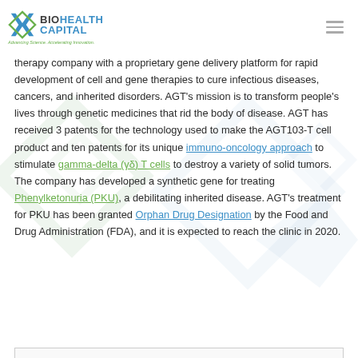[Figure (logo): BioHealth Capital Region logo with X icon, green and blue text, tagline 'Advancing Science. Accelerating Innovation.']
therapy company with a proprietary gene delivery platform for rapid development of cell and gene therapies to cure infectious diseases, cancers, and inherited disorders. AGT's mission is to transform people's lives through genetic medicines that rid the body of disease. AGT has received 3 patents for the technology used to make the AGT103-T cell product and ten patents for its unique immuno-oncology approach to stimulate gamma-delta (γδ) T cells to destroy a variety of solid tumors. The company has developed a synthetic gene for treating Phenylketonuria (PKU), a debilitating inherited disease. AGT's treatment for PKU has been granted Orphan Drug Designation by the Food and Drug Administration (FDA), and it is expected to reach the clinic in 2020.